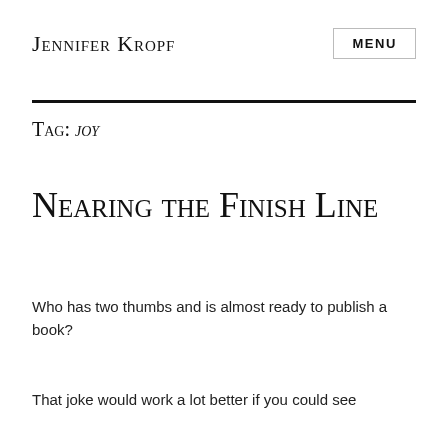Jennifer Kropf
MENU
Tag: joy
Nearing the Finish Line
Who has two thumbs and is almost ready to publish a book?
That joke would work a lot better if you could see